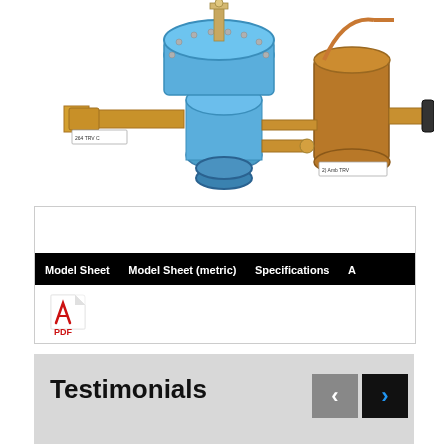[Figure (photo): Industrial valve assembly with blue diaphragm valve body and bronze/brass fittings and pipe connections, shown with multiple labeled tags]
[Figure (screenshot): Document navigation tabs showing: Model Sheet, Model Sheet (metric), Specifications, A... with a PDF icon below]
Testimonials
[Figure (other): Navigation buttons: left arrow (grey) and right arrow (dark with blue chevron)]